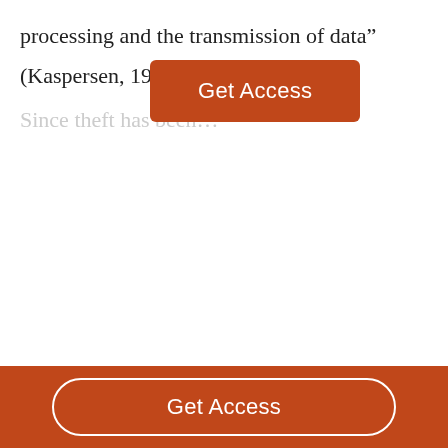processing and the transmission of data”
(Kaspersen, 1995)
Since theft has been…